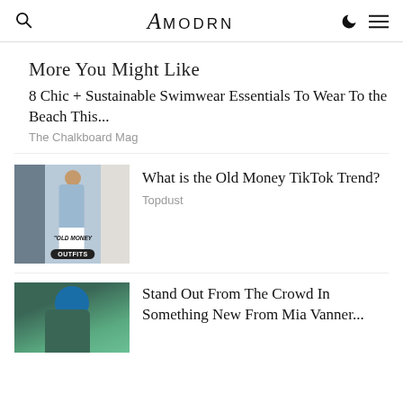amodrn
More You Might Like
8 Chic + Sustainable Swimwear Essentials To Wear To the Beach This...
The Chalkboard Mag
[Figure (photo): Collage of three images showing old money fashion outfits]
What is the Old Money TikTok Trend?
Topdust
[Figure (photo): Woman with blue hair, partial view]
Stand Out From The Crowd In Something New From Mia Vanner...